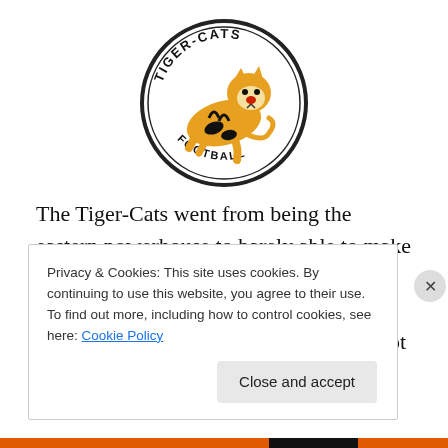[Figure (logo): Hamilton Tiger-Cats Football team logo: a tiger leaping in a circular badge with text 'TIGER-CATS' at top and 'FOOTBALL' at bottom]
The Tiger-Cats went from being the eastern powerhouse to barely able to make the playoffs as it was only the fact that Toronto and Montreal were so much worse that they earned second place. A lot of that had to do with their
Privacy & Cookies: This site uses cookies. By continuing to use this website, you agree to their use.
To find out more, including how to control cookies, see here: Cookie Policy
Close and accept